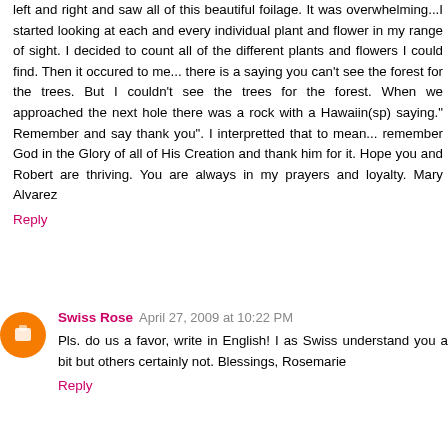left and right and saw all of this beautiful foilage. It was overwhelming...I started looking at each and every individual plant and flower in my range of sight. I decided to count all of the different plants and flowers I could find. Then it occured to me... there is a saying you can't see the forest for the trees. But I couldn't see the trees for the forest. When we approached the next hole there was a rock with a Hawaiin(sp) saying." Remember and say thank you". I interpretted that to mean... remember God in the Glory of all of His Creation and thank him for it. Hope you and Robert are thriving. You are always in my prayers and loyalty. Mary Alvarez
Reply
Swiss Rose  April 27, 2009 at 10:22 PM
Pls. do us a favor, write in English! I as Swiss understand you a bit but others certainly not. Blessings, Rosemarie
Reply